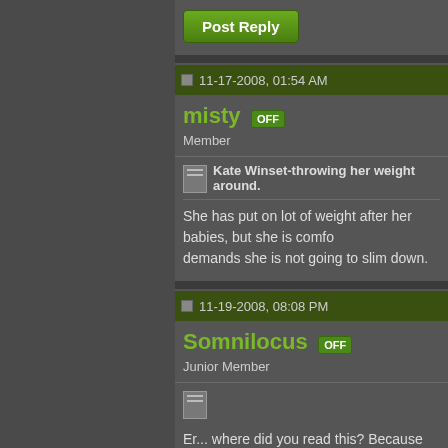[Figure (screenshot): Post Reply button - green rounded rectangle button with white bold text 'Post Reply']
11-17-2008, 01:54 AM
misty OFF
Member
Kate Winset-throwing her weight around.
She has put on lot of weight after her babies, but she is comfortable and demands she is not going to slim down.
11-19-2008, 08:08 PM
Somnilocus OFF
Junior Member
Er... where did you read this? Because from what I've found, s
But, am I missing something here? THIS is the "fat" and "big s
Wtf! She BARELY has a baby bulge, BAAAAARELY. A woma